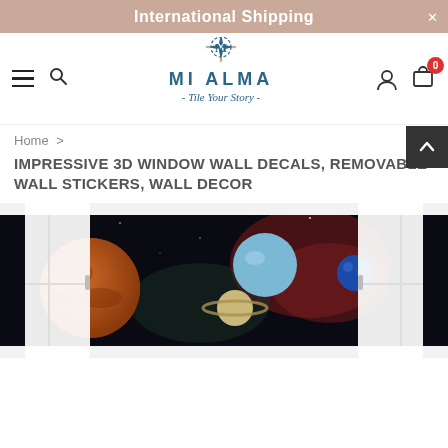International Shipping
[Figure (logo): Mi Alma logo with decorative diamond shape, four-pointed stars and letter M in center, text MI ALMA - Tile Your Story -]
Home >
IMPRESSIVE 3D WINDOW WALL DECALS, REMOVABLE WALL STICKERS, WALL DECOR
[Figure (photo): Product photo of a 3D window wall decal showing a space scene with planets (Mars-like orange planet on left, Saturn with rings in center, light blue planet, blue planet on right) viewed through an open white window frame against a dark space background with nebula colors.]